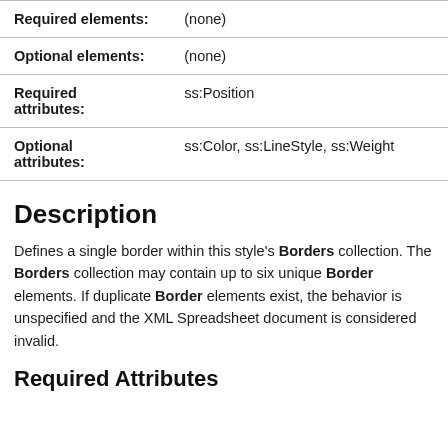|  |  |
| --- | --- |
| Required elements: | (none) |
| Optional elements: | (none) |
| Required attributes: | ss:Position |
| Optional attributes: | ss:Color, ss:LineStyle, ss:Weight |
Description
Defines a single border within this style's Borders collection. The Borders collection may contain up to six unique Border elements. If duplicate Border elements exist, the behavior is unspecified and the XML Spreadsheet document is considered invalid.
Required Attributes